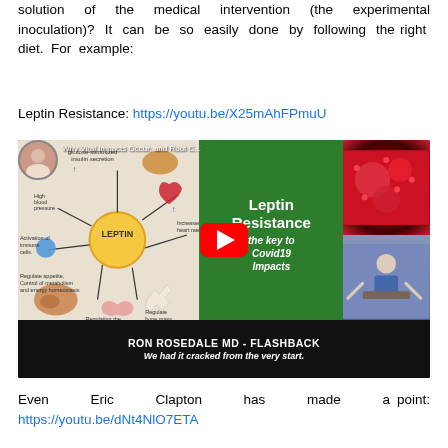solution of the medical intervention (the experimental inoculation)? It can be so easily done by following the right diet. For example:
Leptin Resistance: https://youtu.be/X25mAhFPmuU
[Figure (screenshot): YouTube video thumbnail showing a leptin resistance diagram on the left with LEPTIN label and body system connections, a green panel in the center with 'Leptin Resistance - the key to Covid19 Impacts' text, a red play button overlay, virus image top right, speaker bottom right, and black bar at bottom reading 'RON ROSEDALE MD - FLASHBACK' and 'We had it cracked from the very start.']
Even Eric Clapton has made a point: https://youtu.be/dNt4NlO7ETA